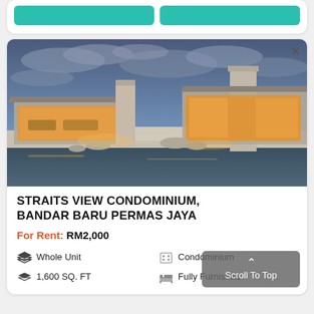[Figure (photo): Top card with two teal/green buttons partially visible at top of page]
[Figure (photo): Luxury property photo showing a modern home with stone pillars, warm interior lighting, pool/water feature in foreground, dramatic cloudy sky at dusk]
STRAITS VIEW CONDOMINIUM, BANDAR BARU PERMAS JAYA
For Rent: RM2,000
Whole Unit
Condominium
1,600 SQ. FT
Fully Furnished
Scroll To Top